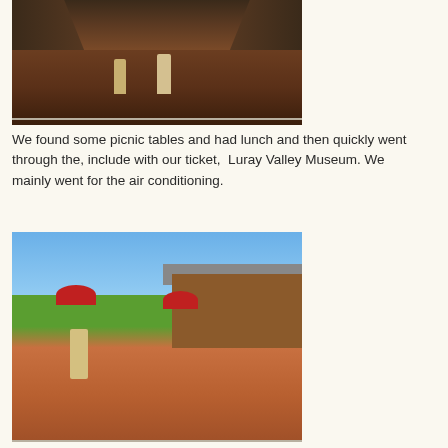[Figure (photo): People walking through a cave or cavern interior with brick/stone floor and rock walls]
We found some picnic tables and had lunch and then quickly went through the, include with our ticket,  Luray Valley Museum. We mainly went for the air conditioning.
[Figure (photo): Outdoor area of Luray Valley Museum with red umbrellas, picnic tables, brick courtyard, person posing, and log cabin building in background]